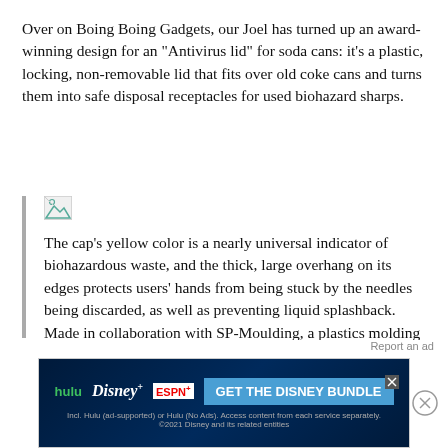Over on Boing Boing Gadgets, our Joel has turned up an award-winning design for an "Antivirus lid" for soda cans: it's a plastic, locking, non-removable lid that fits over old coke cans and turns them into safe disposal receptacles for used biohazard sharps.
[Figure (photo): Broken image placeholder icon]
The cap's yellow color is a nearly universal indicator of biohazardous waste, and the thick, large overhang on its edges protects users' hands from being stuck by the needles being discarded, as well as preventing liquid splashback. Made in collaboration with SP-Moulding, a plastics molding company in
[Figure (other): Advertisement banner for Disney Bundle featuring Hulu, Disney+, and ESPN+ logos with 'GET THE DISNEY BUNDLE' call to action]